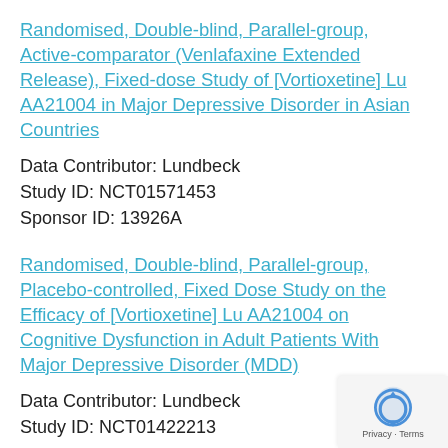Randomised, Double-blind, Parallel-group, Active-comparator (Venlafaxine Extended Release), Fixed-dose Study of [Vortioxetine] Lu AA21004 in Major Depressive Disorder in Asian Countries
Data Contributor: Lundbeck
Study ID: NCT01571453
Sponsor ID: 13926A
Randomised, Double-blind, Parallel-group, Placebo-controlled, Fixed Dose Study on the Efficacy of [Vortioxetine] Lu AA21004 on Cognitive Dysfunction in Adult Patients With Major Depressive Disorder (MDD)
Data Contributor: Lundbeck
Study ID: NCT01422213